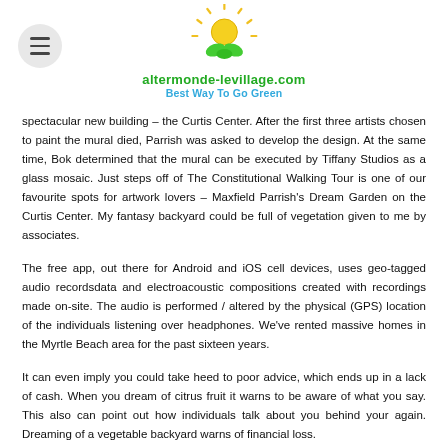altermonde-levillage.com — Best Way To Go Green
spectacular new building – the Curtis Center. After the first three artists chosen to paint the mural died, Parrish was asked to develop the design. At the same time, Bok determined that the mural can be executed by Tiffany Studios as a glass mosaic. Just steps off of The Constitutional Walking Tour is one of our favourite spots for artwork lovers – Maxfield Parrish's Dream Garden on the Curtis Center. My fantasy backyard could be full of vegetation given to me by associates.
The free app, out there for Android and iOS cell devices, uses geo-tagged audio recordsdata and electroacoustic compositions created with recordings made on-site. The audio is performed / altered by the physical (GPS) location of the individuals listening over headphones. We've rented massive homes in the Myrtle Beach area for the past sixteen years.
It can even imply you could take heed to poor advice, which ends up in a lack of cash. When you dream of citrus fruit it warns to be aware of what you say. This also can point out how individuals talk about you behind your again. Dreaming of a vegetable backyard warns of financial loss.
Upon completion, they share their plans with the group. Since 2006, Garden of Dreams has introduced life-changing alternatives to more than 375,000